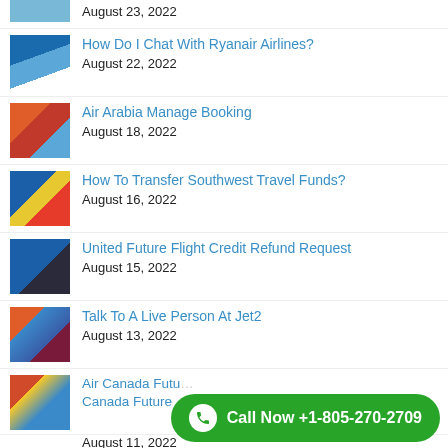August 23, 2022
How Do I Chat With Ryanair Airlines?
August 22, 2022
Air Arabia Manage Booking
August 18, 2022
How To Transfer Southwest Travel Funds?
August 16, 2022
United Future Flight Credit Refund Request
August 15, 2022
Talk To A Live Person At Jet2
August 13, 2022
Air Canada Future Flight Credit | Air Canada Future
August 11, 2022
[Figure (infographic): Green call button overlay: Call Now +1-805-270-2709]